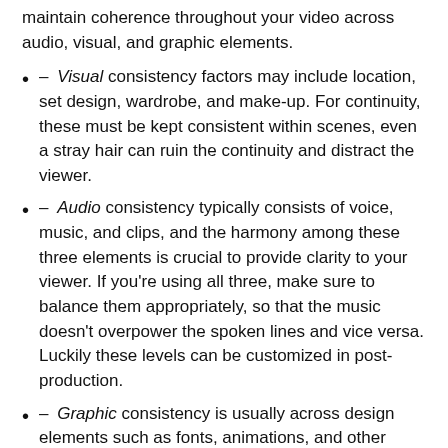continuity issues aren't as glaring as this, it is essential to maintain coherence throughout your video across audio, visual, and graphic elements.
– Visual consistency factors may include location, set design, wardrobe, and make-up. For continuity, these must be kept consistent within scenes, even a stray hair can ruin the continuity and distract the viewer.
– Audio consistency typically consists of voice, music, and clips, and the harmony among these three elements is crucial to provide clarity to your viewer. If you're using all three, make sure to balance them appropriately, so that the music doesn't overpower the spoken lines and vice versa. Luckily these levels can be customized in post-production.
– Graphic consistency is usually across design elements such as fonts, animations, and other